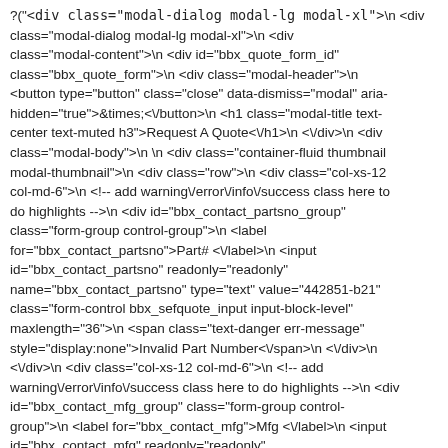?("<div class="modal-dialog modal-lg modal-xl">\n <div class="modal-content">\n <div id="bbx_quote_form_id" class="bbx_quote_form">\n <div class="modal-header">\n <button type="button" class="close" data-dismiss="modal" aria-hidden="true">&times;<\/button>\n <h1 class="modal-title text-center text-muted h3">Request A Quote<\/h1>\n <\/div>\n <div class="modal-body">\n \n <div class="container-fluid thumbnail modal-thumbnail">\n <div class="row">\n <div class="col-xs-12 col-md-6">\n <!-- add warning\/error\/info\/success class here to do highlights -->\n <div id="bbx_contact_partsno_group" class="form-group control-group">\n <label for="bbx_contact_partsno">Part# <\/label>\n <input id="bbx_contact_partsno" readonly="readonly" name="bbx_contact_partsno" type="text" value="442851-b21" class="form-control bbx_sefquote_input input-block-level" maxlength="36">\n <span class="text-danger err-message" style="display:none">Invalid Part Number<\/span>\n <\/div>\n <\/div>\n <div class="col-xs-12 col-md-6">\n <!-- add warning\/error\/info\/success class here to do highlights -->\n <div id="bbx_contact_mfg_group" class="form-group control-group">\n <label for="bbx_contact_mfg">Mfg <\/label>\n <input id="bbx_contact_mfg" readonly="readonly" name="bbx_contact_mfg" type="text" value="Hp" class="form-control bbx_sefquote_input input-block-level" maxlength="24">\n <span class="text-danger err-message"